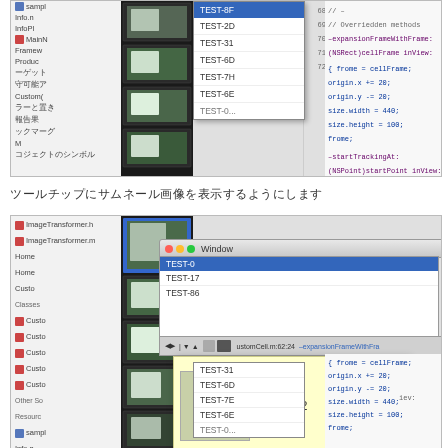[Figure (screenshot): macOS Xcode IDE screenshot showing a sidebar with project files, a filmstrip of test images (statues), a dropdown list with TEST-0 through TEST-6 entries, line numbers, and Objective-C source code on the right]
ツールチップにサムネール画像を表示するようにします
[Figure (screenshot): macOS Xcode IDE screenshot with window chrome, sidebar with ImageTransformer files, filmstrip of test images, dropdown list showing TEST-0, TEST-17, TEST-86, and a tooltip popup showing TEST-62 with a stone lion statue thumbnail image]